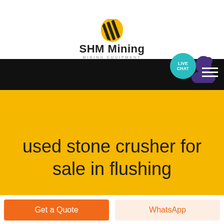[Figure (logo): SHM Mining logo with yellow/black diagonal stripe icon above text 'SHM Mining' and subtitle 'MINING EQUIPMENT']
used stone crusher for sale in flushing
Get a Quote
WhatsApp